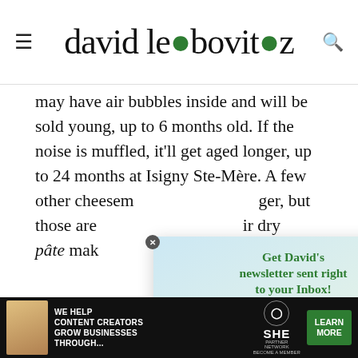david lebovitz
may have air bubbles inside and will be sold young, up to 6 months old. If the noise is muffled, it'll get aged longer, up to 24 months at Isigny Ste-Mère. A few other cheesem…ger, but those are…ir dry pâte mak…
[Figure (other): Email newsletter signup popup overlay with heading 'Get David's newsletter sent right to your Inbox!' and body text 'Sign up for my newsletter and get my FREE guidebook to the best bakeries and pastry shops in Paris...' with a green CTA button 'Click HERE to subscribe']
[Figure (photo): Partial photo strip showing cheese or baked good, dark background]
[Figure (infographic): Bottom advertisement banner: 'WE HELP CONTENT CREATORS GROW BUSINESSES THROUGH...' with SHE Partner Network logo and 'LEARN MORE' button]